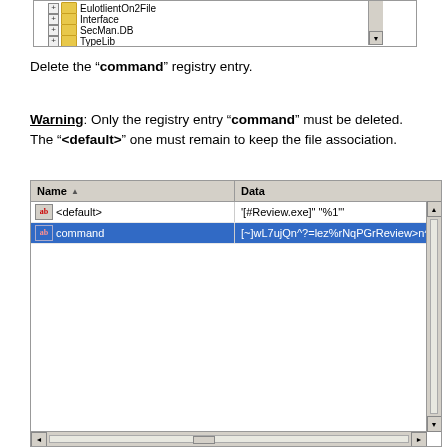[Figure (screenshot): Windows registry editor tree showing folders: EulotlientOn2File, Interface, SecMan.DB, TypeLib with expand icons and a scrollbar]
Delete the “command” registry entry.
Warning: Only the registry entry “command” must be deleted. The “<default>” one must remain to keep the file association.
[Figure (screenshot): Windows registry editor showing two entries: (default) with value '[#Review.exe]" "%1"' and command (selected/highlighted) with value '[~]wL7ujQn^?=lez%rNqPGrReview>n^YOYHz?...']